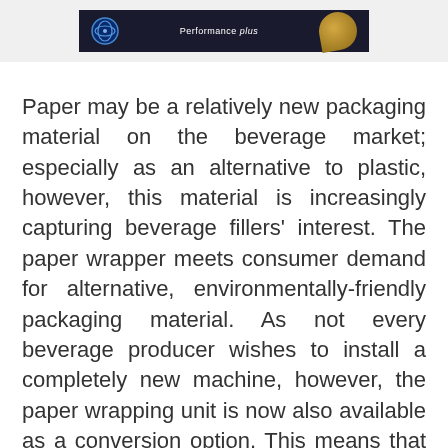[Figure (photo): Dark banner image with a circular blue logo on the left, text reading 'Performance' in the center, and a golden/brass mechanical element on the right, against a dark navy background.]
Paper may be a relatively new packaging material on the beverage market; especially as an alternative to plastic, however, this material is increasingly capturing beverage fillers' interest. The paper wrapper meets consumer demand for alternative, environmentally-friendly packaging material. As not every beverage producer wishes to install a completely new machine, however, the paper wrapping unit is now also available as a conversion option. This means that bottling companies can quickly and easily react to marketing trends and consumer demands using existing Innopack packaging machines.